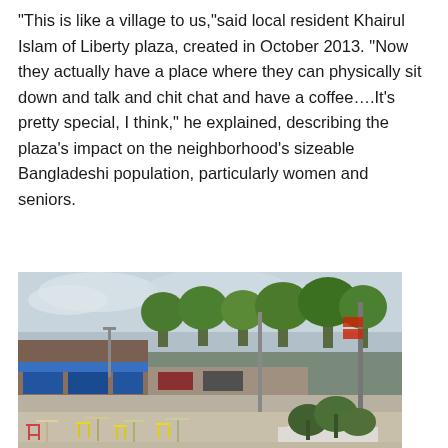“This is like a village to us,”said local resident Khairul Islam of Liberty plaza, created in October 2013. “Now they actually have a place where they can physically sit down and talk and chit chat and have a coffee….It’s pretty special, I think,” he explained, describing the plaza’s impact on the neighborhood’s sizeable Bangladeshi population, particularly women and seniors.
[Figure (photo): Outdoor plaza with colorful metal bistro chairs and tables scattered on a sandy/concrete surface, large potted planters with flowers and shrubs on the right, street view showing storefronts and trees in the background under a cloudy sky.]